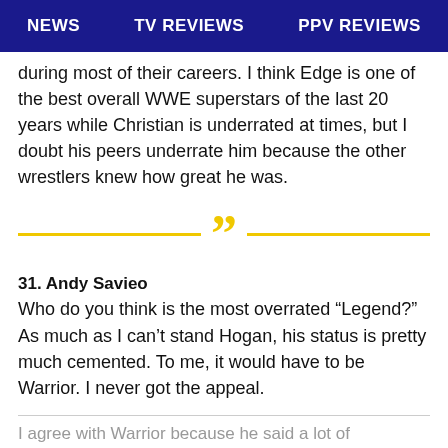NEWS   TV REVIEWS   PPV REVIEWS
during most of their careers. I think Edge is one of the best overall WWE superstars of the last 20 years while Christian is underrated at times, but I doubt his peers underrate him because the other wrestlers knew how great he was.
31. Andy Savieo
Who do you think is the most overrated “Legend?” As much as I can’t stand Hogan, his status is pretty much cemented. To me, it would have to be Warrior. I never got the appeal.
I agree with Warrior because he said a lot of